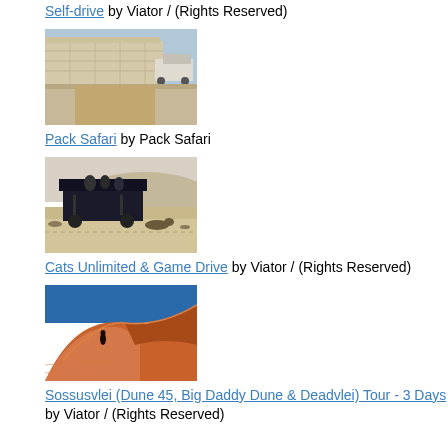Self-drive by Viator / (Rights Reserved)
[Figure (photo): A concrete wall with a vehicle and construction equipment in an arid landscape]
Pack Safari by Pack Safari
[Figure (photo): A large dark safari vehicle in a desert landscape with an animal nearby]
Cats Unlimited & Game Drive by Viator / (Rights Reserved)
[Figure (photo): A person climbing a tall orange sand dune in Sossusvlei, Namibia]
Sossusvlei (Dune 45, Big Daddy Dune & Deadvlei) Tour - 3 Days by Viator / (Rights Reserved)